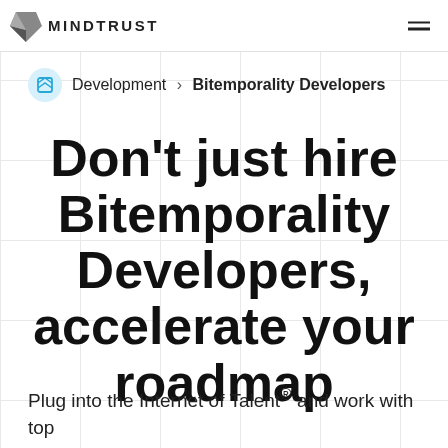MINDTRUST
Development > Bitemporality Developers
Don't just hire Bitemporality Developers, accelerate your roadmap
Plug into the Internet of Talent® and work with top